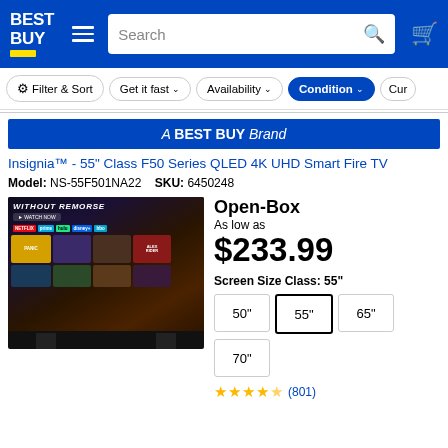Best Buy — Navigation header with logo, search bar, and cart icon
Filter & Sort   Get it fast   Availability   Condition   Cur
[Figure (screenshot): Best Buy website product listing page for Insignia 55-inch Class F50 Series QLED 4K UHD Smart Fire TV showing Open-Box price of $233.99]
A BEST BUY Brand
Insignia™ - 55" Class F50 Series QLED 4K UHD Smart Fire TV
Model: NS-55F501NA22   SKU: 6450248
Open-Box
As low as
$233.99
Screen Size Class: 55"
50"
55"
65"
70"
(801)